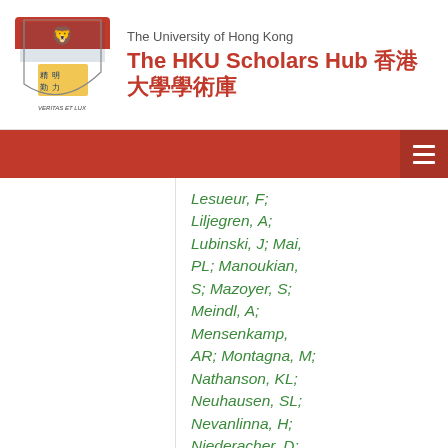The University of Hong Kong — The HKU Scholars Hub 香港大學學術庫
Lesueur, F; Liljegren, A; Lubinski, J; Mai, PL; Manoukian, S; Mazoyer, S; Meindl, A; Mensenkamp, AR; Montagna, M; Nathanson, KL; Neuhausen, SL; Nevanlinna, H; Niederacher, D; Olah, E; Olopade, OI; Ong, KR; Osorio, A; Park, SK; Paulsson-Karlsson, Y; Pedersen, IS;